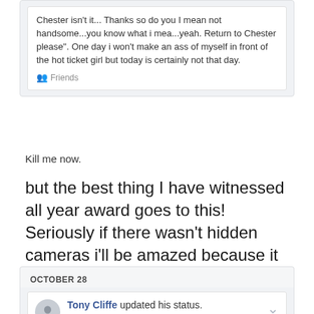Chester isn't it... Thanks so do you I mean not handsome...you know what i mea...yeah. Return to Chester please". One day i won't make an ass of myself in front of the hot ticket girl but today is certainly not that day.
Friends
Kill me now.
but the best thing I have witnessed all year award goes to this! Seriously if there wasn't hidden cameras i'll be amazed because it was comedy sketch show gold! Unbelievable yet amazing! My drink nearly came out of my nose just thinking of It hahaha.
OCTOBER 28
Tony Cliffe updated his status. Hahahaha that's a first on merseyrail. Guy gets pushed on in a wheel chair and then starts complaining that a bike is in the